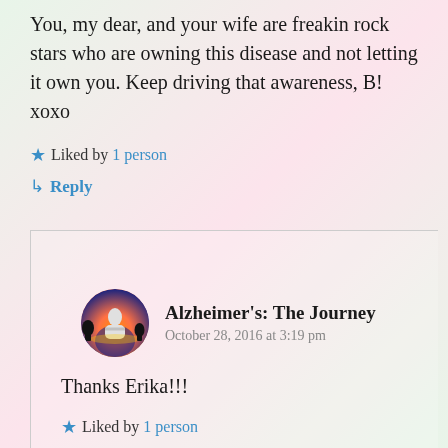You, my dear, and your wife are freakin rock stars who are owning this disease and not letting it own you. Keep driving that awareness, B! xoxo
★ Liked by 1 person
↳ Reply
Alzheimer's: The Journey
October 28, 2016 at 3:19 pm
Thanks Erika!!!
★ Liked by 1 person